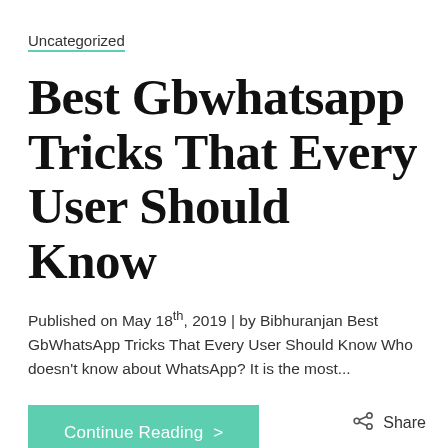Uncategorized
Best Gbwhatsapp Tricks That Every User Should Know
Published on May 18th, 2019 | by Bibhuranjan Best GbWhatsApp Tricks That Every User Should Know Who doesn't know about WhatsApp? It is the most...
Continue Reading >
Share